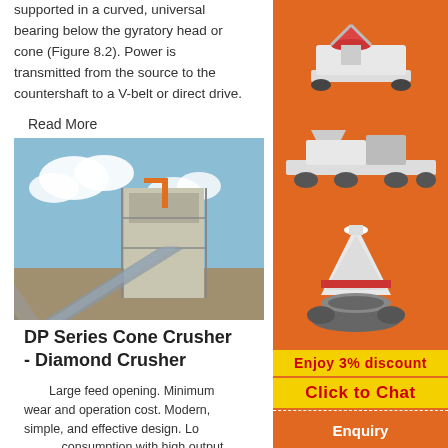supported in a curved, universal bearing below the gyratory head or cone (Figure 8.2). Power is transmitted from the source to the countershaft to a V-belt or direct drive.
Read More
[Figure (photo): Industrial cone crusher facility with conveyor belts and steel structure against a blue sky.]
DP Series Cone Crusher - Diamond Crusher
Large feed opening. Minimum wear and operation cost. Modern, simple, and effective design. Low power consumption with high output. Highly efficient with maximum energy imparted for crushing. Better reliability due to the components produced in the-art in-house machining facility. For details please refer the brochure.
[Figure (infographic): Orange sidebar advertisement showing mining/crushing equipment machines, Enjoy 3% discount banner, Click to Chat button, Enquiry section, and email limingjlmofen@sina.com]